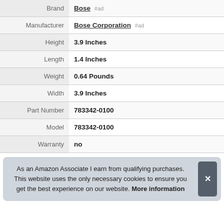| Attribute | Value |
| --- | --- |
| Brand | Bose #ad |
| Manufacturer | Bose Corporation #ad |
| Height | 3.9 Inches |
| Length | 1.4 Inches |
| Weight | 0.64 Pounds |
| Width | 3.9 Inches |
| Part Number | 783342-0100 |
| Model | 783342-0100 |
| Warranty | no |
As an Amazon Associate I earn from qualifying purchases. This website uses the only necessary cookies to ensure you get the best experience on our website. More information